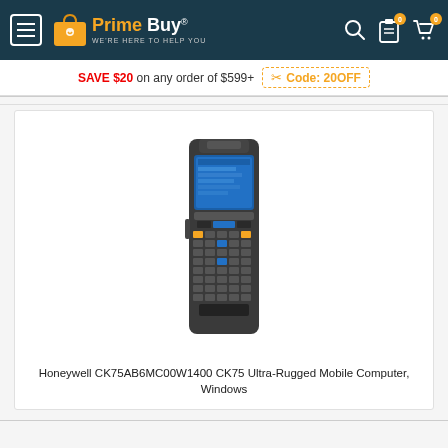Prime Buy® — WE'RE HERE TO HELP YOU
SAVE $20 on any order of $599+  Code: 20OFF
[Figure (photo): Honeywell CK75AB6MC00W1400 CK75 Ultra-Rugged Mobile Computer handheld device with keypad and touchscreen]
Honeywell CK75AB6MC00W1400 CK75 Ultra-Rugged Mobile Computer, Windows